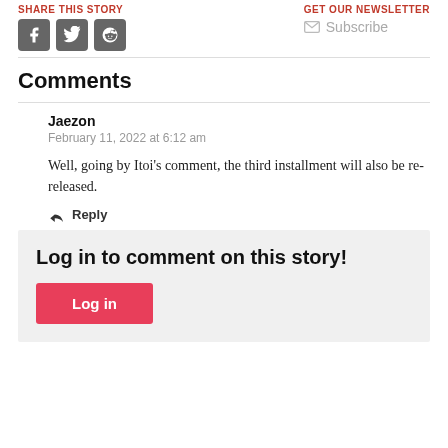SHARE THIS STORY
GET OUR NEWSLETTER
[Figure (other): Social share icons: Facebook, Twitter, Reddit]
Subscribe
Comments
Jaezon
February 11, 2022 at 6:12 am
Well, going by Itoi’s comment, the third installment will also be re-released.
Reply
Log in to comment on this story!
Log in